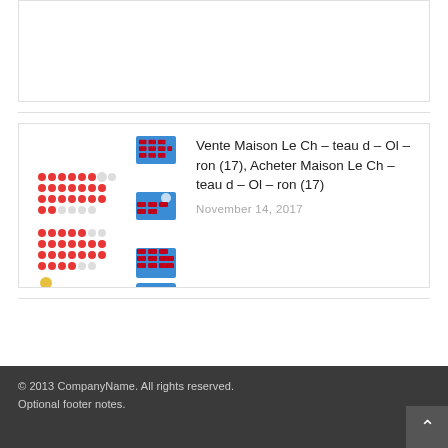[Figure (screenshot): Top card placeholder white box with border]
[Figure (screenshot): Thumbnail image showing colored dot grids and blue calendar-like cards arranged in a grid]
Vente Maison Le Ch – teau d – Ol – ron (17), Acheter Maison Le Ch – teau d – Ol – ron (17)
November 14, 2017
© 2013 CompanyName. All rights reserved.
Optional footer notes.